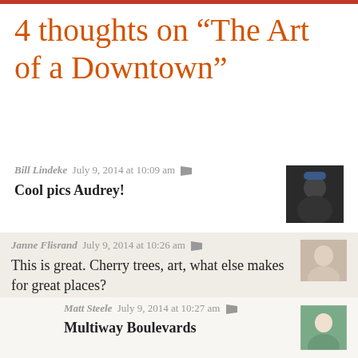4 thoughts on “The Art of a Downtown”
Bill Lindeke  July 9, 2014 at 10:09 am
Cool pics Audrey!
Janne Flisrand  July 9, 2014 at 10:26 am
This is great. Cherry trees, art, what else makes for great places?
Matt Steele  July 9, 2014 at 10:27 am
Multiway Boulevards